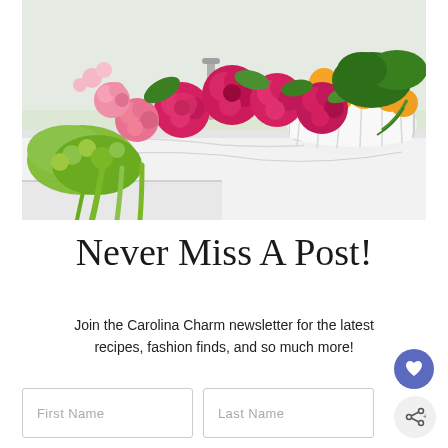[Figure (photo): Floral arrangement of bright pink/magenta roses and green foliage draped over a white marble kitchen counter, with a white lattice basket of oranges in the background]
Never Miss A Post!
Join the Carolina Charm newsletter for the latest recipes, fashion finds, and so much more!